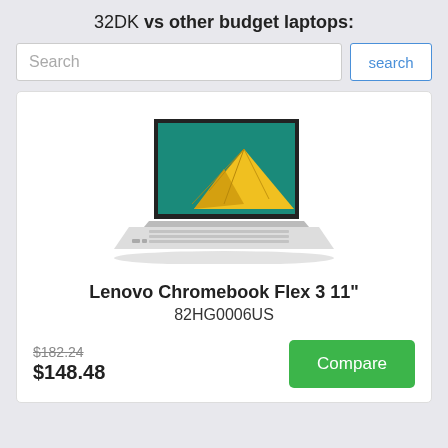32DK vs other budget laptops:
Search
[Figure (photo): Photo of Lenovo Chromebook Flex 3 11-inch laptop open, showing a teal/green screen with a yellow pyramid graphic, white body with keyboard, viewed from a slight angle]
Lenovo Chromebook Flex 3 11"
82HG0006US
$182.24 $148.48